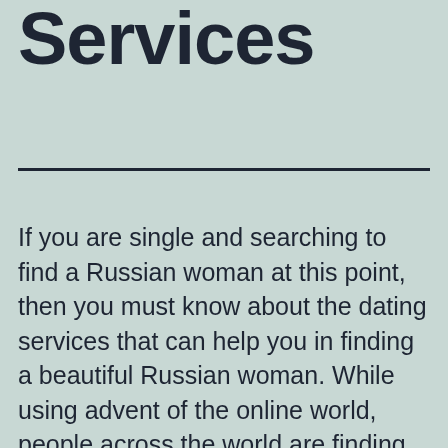Services
If you are single and searching to find a Russian woman at this point, then you must know about the dating services that can help you in finding a beautiful Russian woman. While using advent of the online world, people across the world are finding their very own lifetimes life-long companions. It has and so excellent...